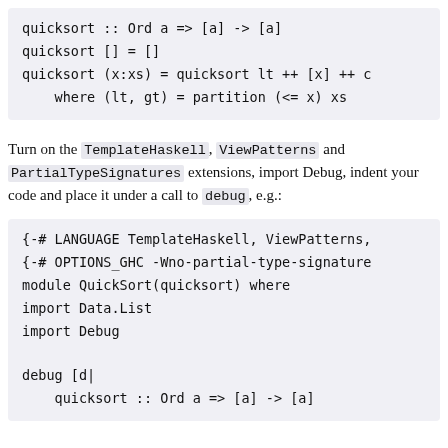quicksort :: Ord a => [a] -> [a]
quicksort [] = []
quicksort (x:xs) = quicksort lt ++ [x] ++ c
    where (lt, gt) = partition (<= x) xs
Turn on the TemplateHaskell, ViewPatterns and PartialTypeSignatures extensions, import Debug, indent your code and place it under a call to debug, e.g.:
{-# LANGUAGE TemplateHaskell, ViewPatterns,
{-# OPTIONS_GHC -Wno-partial-type-signature
module QuickSort(quicksort) where
import Data.List
import Debug

debug [d|
    quicksort :: Ord a => [a] -> [a]